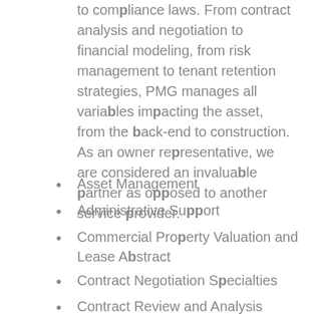to compliance laws. From contract analysis and negotiation to financial modeling, from risk management to tenant retention strategies, PMG manages all variables impacting the asset, from the back-end to construction. As an owner representative, we are considered an invaluable partner as opposed to another service provider.
Asset Management
Administrative Support
Commercial Property Valuation and Lease Abstract
Contract Negotiation Specialties
Contract Review and Analysis
Budgeting, Accounting and Reporting